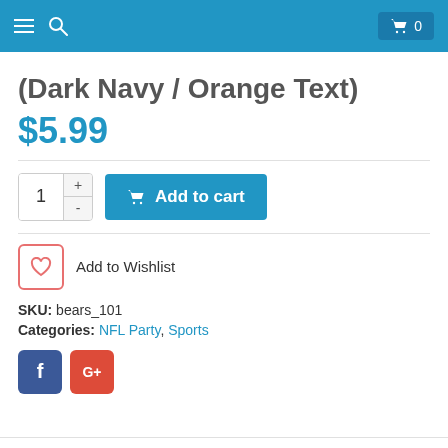Navigation bar with menu, search, and cart (0 items)
(Dark Navy / Orange Text)
$5.99
Add to cart (quantity selector with + and - buttons)
Add to Wishlist
SKU: bears_101
Categories: NFL Party, Sports
[Figure (other): Social share buttons: Facebook (f) and Google+ (G+)]